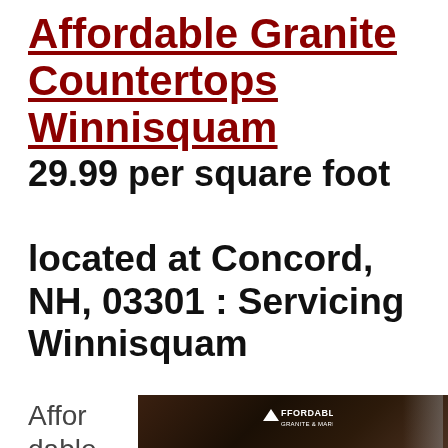Affordable Granite Countertops Winnisquam
29.99 per square foot
located at Concord, NH, 03301 : Servicing Winnisquam
Affor dable
[Figure (photo): Kitchen countertop photo with Affordable Granite & Marble logo overlay, showing dark granite countertops and a kitchen sink with faucet]